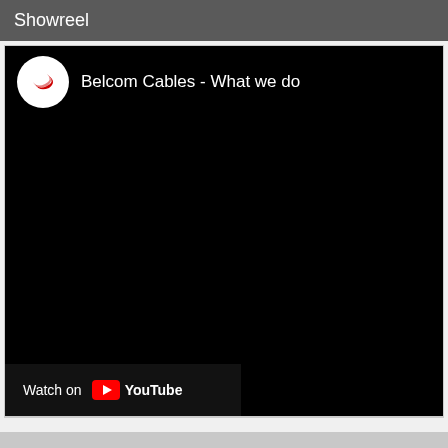Showreel
[Figure (screenshot): Embedded YouTube video player showing 'Belcom Cables - What we do' with a black video area, channel logo (white circle with red swoosh), and a 'Watch on YouTube' overlay bar at the bottom left.]